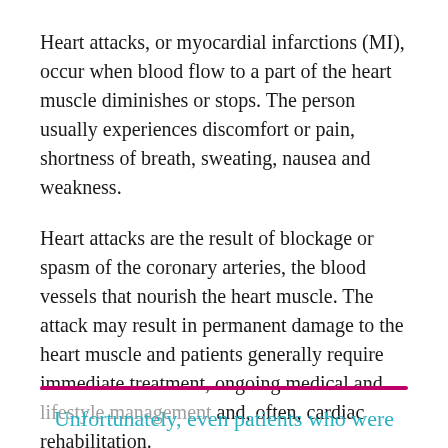Heart attacks, or myocardial infarctions (MI), occur when blood flow to a part of the heart muscle diminishes or stops. The person usually experiences discomfort or pain, shortness of breath, sweating, nausea and weakness.
Heart attacks are the result of blockage or spasm of the coronary arteries, the blood vessels that nourish the heart muscle. The attack may result in permanent damage to the heart muscle and patients generally require immediate treatment, ongoing medical and lifestyle management and, often, cardiac rehabilitation.
Unfortunately, even patients who were